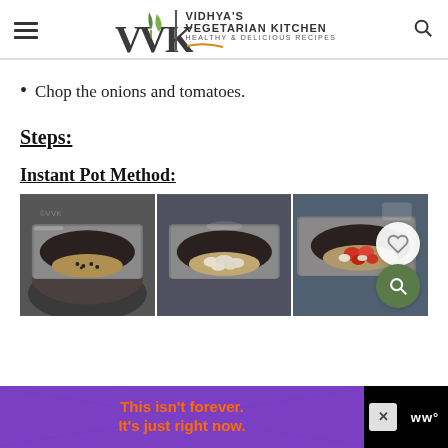VVK | VIDHYA'S VEGETARIAN KITCHEN HEALTHY & DELICIOUS RECIPES
Chop the onions and tomatoes.
Steps:
Instant Pot Method:
[Figure (photo): Three-panel step-by-step photo: (1) spices in Instant Pot, (2) onions added, (3) tomatoes added]
[Figure (infographic): Advertisement banner: 'This isn't forever. It's just right now.' on purple background with starburst lines]